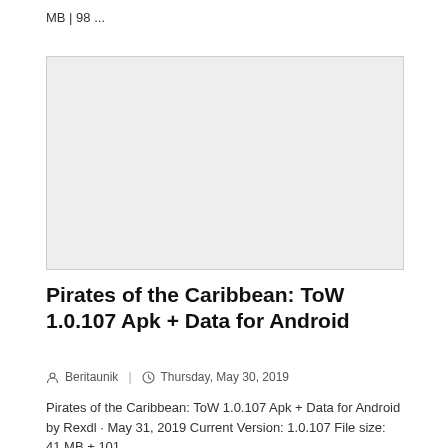MB | 98 ...
[Figure (photo): Gray placeholder image box]
Pirates of the Caribbean: ToW 1.0.107 Apk + Data for Android
Beritaunik  |  Thursday, May 30, 2019
Pirates of the Caribbean: ToW 1.0.107 Apk + Data for Android by Rexdl · May 31, 2019 Current Version: 1.0.107 File size: 41 MB + 101